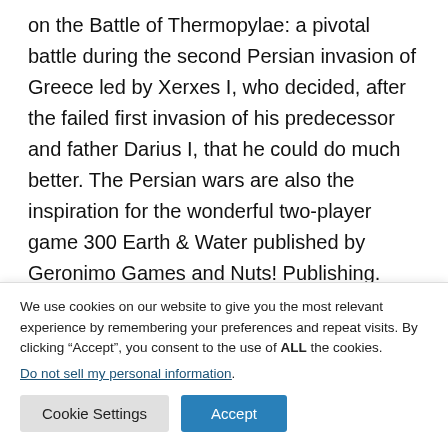on the Battle of Thermopylae: a pivotal battle during the second Persian invasion of Greece led by Xerxes I, who decided, after the failed first invasion of his predecessor and father Darius I, that he could do much better. The Persian wars are also the inspiration for the wonderful two-player game 300 Earth & Water published by Geronimo Games and Nuts! Publishing.
Historical context
We use cookies on our website to give you the most relevant experience by remembering your preferences and repeat visits. By clicking "Accept", you consent to the use of ALL the cookies.
Do not sell my personal information.